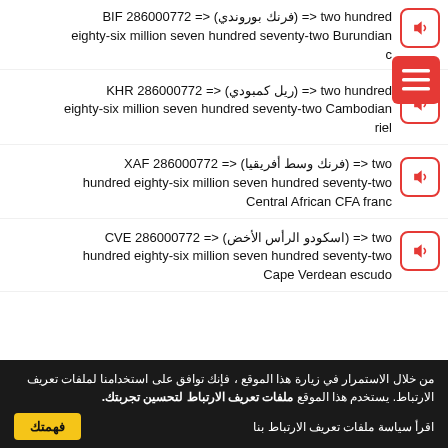two hundred <= (فرنك بوروندي) <= BIF 286000772 eighty-six million seven hundred seventy-two Burundian franc
two hundred <= (ريل كمبودي) <= KHR 286000772 eighty-six million seven hundred seventy-two Cambodian riel
two <= (فرنك وسط أفريقيا) <= XAF 286000772 hundred eighty-six million seven hundred seventy-two Central African CFA franc
two <= (اسكودو الرأس الأخض) <= CVE 286000772 hundred eighty-six million seven hundred seventy-two Cape Verdean escudo
من خلال الاستمرار في زيارة هذا الموقع ، فإنك توافق على استخدامنا لملفات تعريف الارتباط. يستخدم هذا الموقع ملفات تعريف الارتباط لتحسين تجربتك.
اقرأ سياسة ملفات تعريف الارتباط بنا
فهمتك